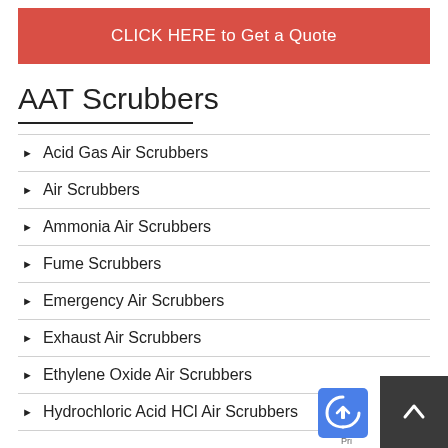CLICK HERE to Get a Quote
AAT Scrubbers
Acid Gas Air Scrubbers
Air Scrubbers
Ammonia Air Scrubbers
Fume Scrubbers
Emergency Air Scrubbers
Exhaust Air Scrubbers
Ethylene Oxide Air Scrubbers
Hydrochloric Acid HCl Air Scrubbers